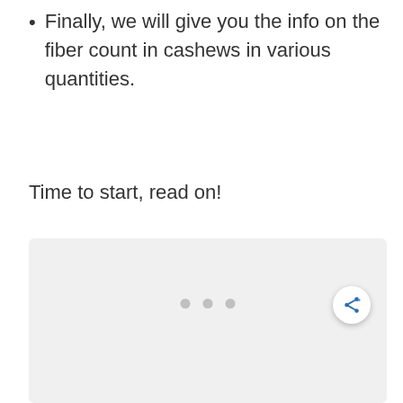Finally, we will give you the info on the fiber count in cashews in various quantities.
Time to start, read on!
[Figure (photo): Light gray placeholder image area with three small dots indicating a loading carousel or image slider, and a share button in the bottom right corner.]